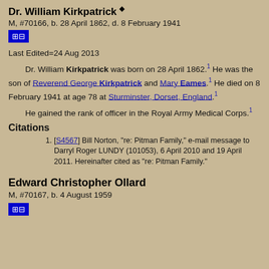Dr. William Kirkpatrick
M, #70166, b. 28 April 1862, d. 8 February 1941
Last Edited=24 Aug 2013
Dr. William Kirkpatrick was born on 28 April 1862.[1] He was the son of Reverend George Kirkpatrick and Mary Eames.[1] He died on 8 February 1941 at age 78 at Sturminster, Dorset, England.[1] He gained the rank of officer in the Royal Army Medical Corps.[1]
Citations
[S4567] Bill Norton, "re: Pitman Family," e-mail message to Darryl Roger LUNDY (101053), 6 April 2010 and 19 April 2011. Hereinafter cited as "re: Pitman Family."
Edward Christopher Ollard
M, #70167, b. 4 August 1959